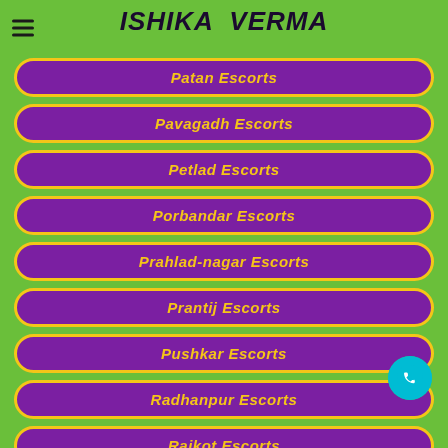ISHIKA VERMA
Patan Escorts
Pavagadh Escorts
Petlad Escorts
Porbandar Escorts
Prahlad-nagar Escorts
Prantij Escorts
Pushkar Escorts
Radhanpur Escorts
Rajkot Escorts
Rajpipla Escorts
Rajula Escorts